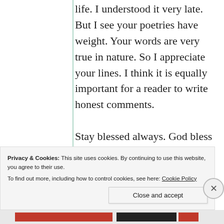life. I understood it very late. But I see your poetries have weight. Your words are very true in nature. So I appreciate your lines. I think it is equally important for a reader to write honest comments. Stay blessed always. God bless you all. Regards 🙏
Privacy & Cookies: This site uses cookies. By continuing to use this website, you agree to their use. To find out more, including how to control cookies, see here: Cookie Policy
Close and accept